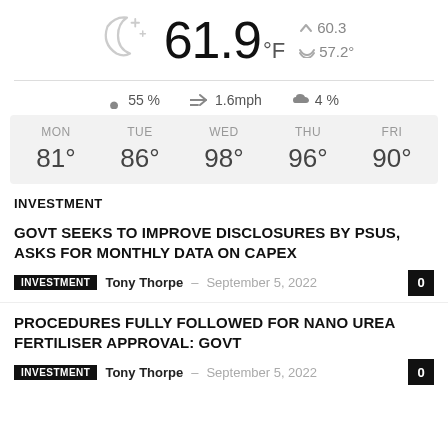[Figure (infographic): Weather widget showing night/partly cloudy icon with temperature 61.9°F, high 60.3°, low 57.2°, humidity 55%, wind 1.6mph, cloud 4%, and 5-day forecast: MON 81°, TUE 86°, WED 98°, THU 96°, FRI 90°]
INVESTMENT
GOVT SEEKS TO IMPROVE DISCLOSURES BY PSUS, ASKS FOR MONTHLY DATA ON CAPEX
INVESTMENT  Tony Thorpe – September 5, 2022  0
PROCEDURES FULLY FOLLOWED FOR NANO UREA FERTILISER APPROVAL: GOVT
INVESTMENT  Tony Thorpe – September 5, 2022  0